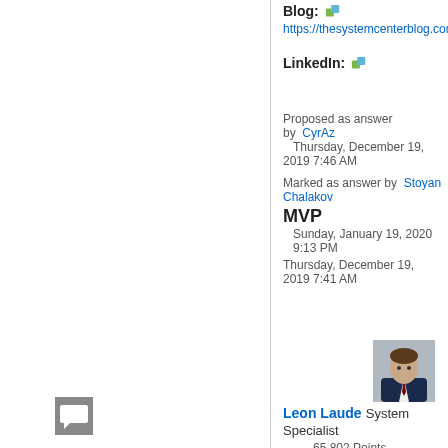Blog: [icon] https://thesystemcenterblog.com
LinkedIn: [icon]
Proposed as answer by  CyrAz  Thursday, December 19, 2019 7:46 AM
Marked as answer by  Stoyan Chalakov MVP  Sunday, January 19, 2020 9:13 PM
Thursday, December 19, 2019 7:41 AM
[Figure (photo): User avatar photo of Leon Laude]
Leon Laude System Specialist 65,802 Points
[Figure (illustration): Comment icon box (grey square with speech bubble)]